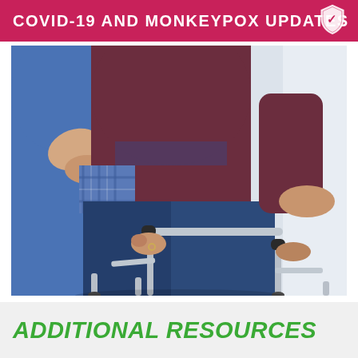COVID-19 AND MONKEYPOX UPDATES
[Figure (photo): A healthcare worker in blue scrubs assists an elderly person using a metal walker frame, close-up view of hands gripping the walker handles.]
ADDITIONAL RESOURCES